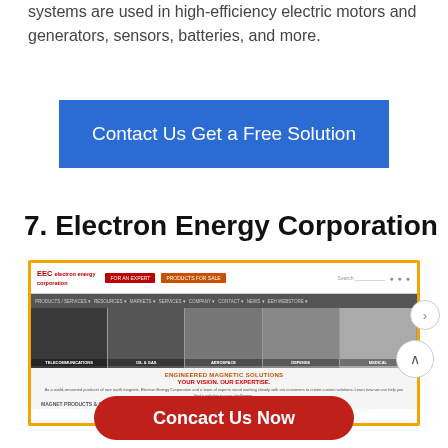systems are used in high-efficiency electric motors and generators, sensors, batteries, and more.
Contact Us Get a Free Solution
7. Electron Energy Corporation
[Figure (screenshot): Screenshot of Electron Energy Corporation website showing logo, navigation bar with red and orange buttons, navigation menu in gray, and five industry panels (Telecommunications, Oil & Gas, Aerospace, Defense, Medical) in grayscale, with orange headline text below and a red Contact Us Now button overlay.]
Concact Us Now